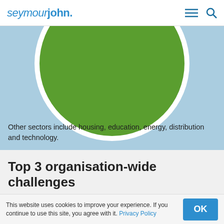seymourjohn.
[Figure (illustration): Large green circle on a light blue background, partially cropped at the top of the section]
Other sectors include housing, education, energy, distribution and technology.
Top 3 organisation-wide challenges
By 2020, over half the workforce will be Millennials.
Understanding what makes them tick is going to be important for the HR function of the future and, we're guessing, the reason why
This website uses cookies to improve your experience. If you continue to use this site, you agree with it. Privacy Policy